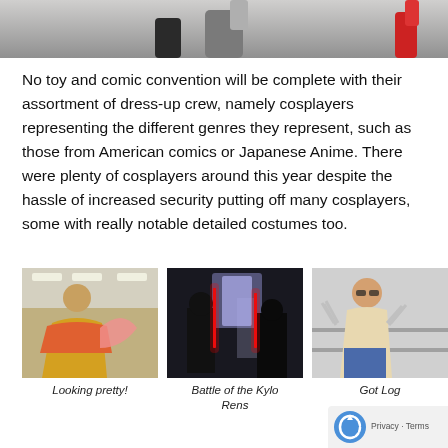[Figure (photo): Top portion of a photo showing people's feet and shoes on a floor at a convention]
No toy and comic convention will be complete with their assortment of dress-up crew, namely cosplayers representing the different genres they represent, such as those from American comics or Japanese Anime. There were plenty of cosplayers around this year despite the hassle of increased security putting off many cosplayers, some with really notable detailed costumes too.
[Figure (photo): Cosplayer dressed in yellow and red outfit holding a large pink fan, at a convention hall]
Looking pretty!
[Figure (photo): Two cosplayers dressed as Kylo Ren from Star Wars with red lightsabers in a dark convention setting]
Battle of the Kylo Rens
[Figure (photo): Man cosplaying as Wolverine with claws extended at a convention]
Got Log